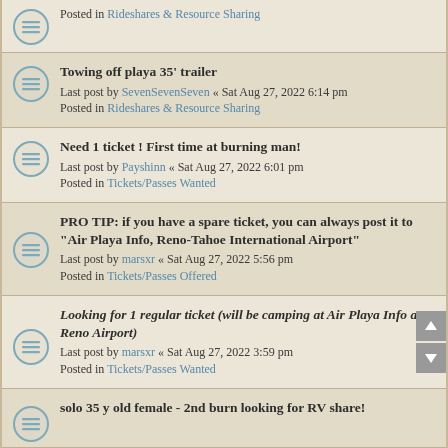Posted in Rideshares & Resource Sharing
Towing off playa 35' trailer
Last post by SevenSevenSeven « Sat Aug 27, 2022 6:14 pm
Posted in Rideshares & Resource Sharing
Need 1 ticket ! First time at burning man!
Last post by Payshinn « Sat Aug 27, 2022 6:01 pm
Posted in Tickets/Passes Wanted
PRO TIP: if you have a spare ticket, you can always post it to "Air Playa Info, Reno-Tahoe International Airport"
Last post by marsxr « Sat Aug 27, 2022 5:56 pm
Posted in Tickets/Passes Offered
Looking for 1 regular ticket (will be camping at Air Playa Info at Reno Airport)
Last post by marsxr « Sat Aug 27, 2022 3:59 pm
Posted in Tickets/Passes Wanted
solo 35 y old female - 2nd burn looking for RV share!